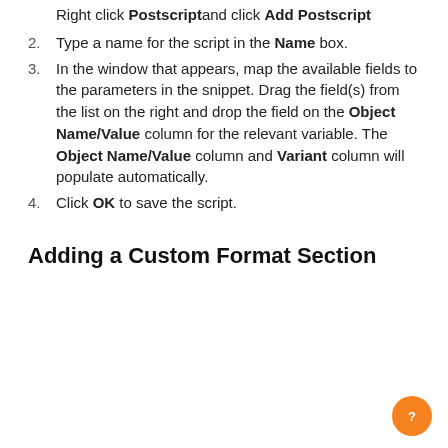Right click Postscript and click Add Postscript
2. Type a name for the script in the Name box.
3. In the window that appears, map the available fields to the parameters in the snippet. Drag the field(s) from the list on the right and drop the field on the Object Name/Value column for the relevant variable. The Object Name/Value column and Variant column will populate automatically.
4. Click OK to save the script.
Adding a Custom Format Section